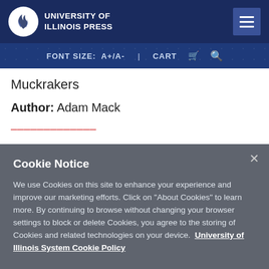University of Illinois Press
FONT SIZE: A+/A- | CART
Muckrakers
Author: Adam Mack
Cookie Notice
We use Cookies on this site to enhance your experience and improve our marketing efforts. Click on "About Cookies" to learn more. By continuing to browse without changing your browser settings to block or delete Cookies, you agree to the storing of Cookies and related technologies on your device. University of Illinois System Cookie Policy